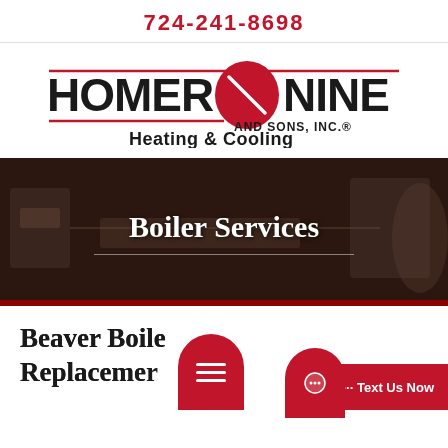724-241-8698
[Figure (logo): Homer Nine and Sons, Inc. Heating & Cooling logo with red circular badge between HOMER and NINE text, red horizontal rules, and tagline Heating & Cooling]
Boiler Services
Beaver Boiler Repair & Replacement